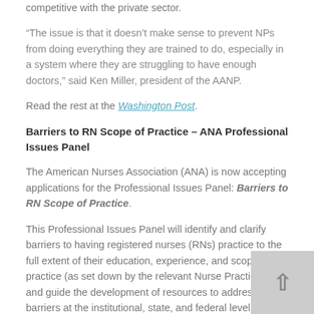competitive with the private sector.
“The issue is that it doesn’t make sense to prevent NPs from doing everything they are trained to do, especially in a system where they are struggling to have enough doctors,” said Ken Miller, president of the AANP.
Read the rest at the Washington Post.
Barriers to RN Scope of Practice – ANA Professional Issues Panel
The American Nurses Association (ANA) is now accepting applications for the Professional Issues Panel: Barriers to RN Scope of Practice.
This Professional Issues Panel will identify and clarify barriers to having registered nurses (RNs) practice to the full extent of their education, experience, and scope of practice (as set down by the relevant Nurse Practice Act), and guide the development of resources to address these barriers at the institutional, state, and federal level.
The Steering Committee will consist of up to fifteen members and